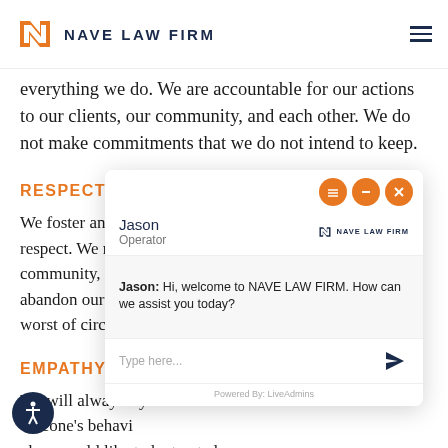NAVE LAW FIRM
everything we do. We are accountable for our actions to our clients, our community, and each other. We do not make commitments that we do not intend to keep.
RESPECT
We foster an environment of teamwork and respect. We respect each other, our clients, our community, and o… abandon our clien… worst of circumsta…
EMPATHY
We will always try… meone's behavi… they would like to be treated.
[Figure (screenshot): Live chat widget overlay from Nave Law Firm showing operator Jason greeting the user with 'Hi, welcome to NAVE LAW FIRM. How can we assist you today?' with a text input field and send button, powered by LiveAdmins.]